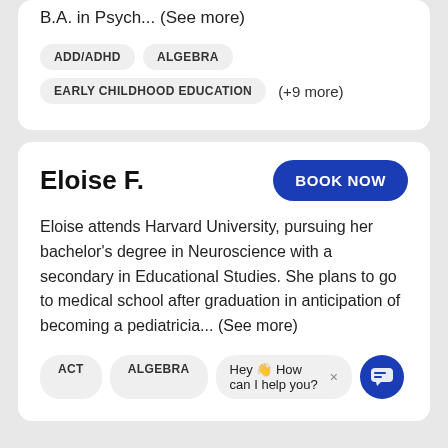B.A. in Psych... (See more)
ADD/ADHD
ALGEBRA
EARLY CHILDHOOD EDUCATION
(+9 more)
Eloise F.
BOOK NOW
Eloise attends Harvard University, pursuing her bachelor's degree in Neuroscience with a secondary in Educational Studies. She plans to go to medical school after graduation in anticipation of becoming a pediatricia... (See more)
ACT
ALGEBRA
Hey 👋 How can I help you? ×